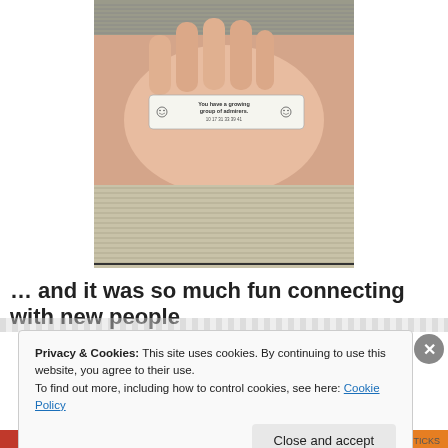[Figure (photo): A hand holding a fortune cookie slip that reads 'You have a growing group of admirers. 10 17 31 33 39 41'. The background shows ribbed/corrugated surfaces.]
… and it was so much fun connecting with new people
Privacy & Cookies: This site uses cookies. By continuing to use this website, you agree to their use.
To find out more, including how to control cookies, see here: Cookie Policy
Close and accept